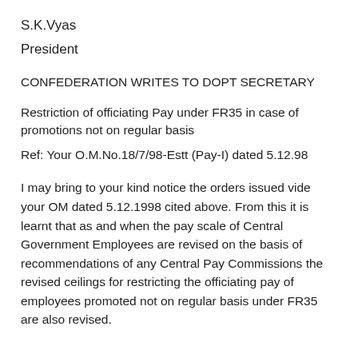S.K.Vyas
President
CONFEDERATION WRITES TO DOPT SECRETARY
Restriction of officiating Pay under FR35 in case of promotions not on regular basis
Ref: Your O.M.No.18/7/98-Estt (Pay-I) dated 5.12.98
I may bring to your kind notice the orders issued vide your OM dated 5.12.1998 cited above. From this it is learnt that as and when the pay scale of Central Government Employees are revised on the basis of recommendations of any Central Pay Commissions the revised ceilings for restricting the officiating pay of employees promoted not on regular basis under FR35 are also revised.